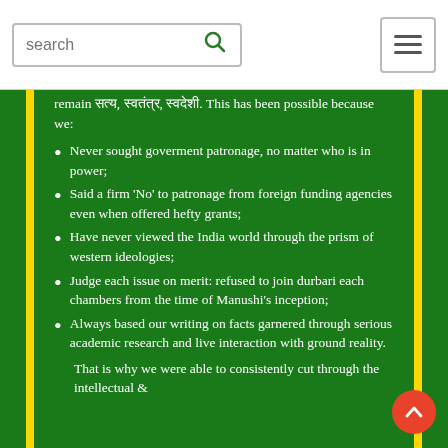search [search icon] [hamburger menu]
remain सत्य, स्वतंत्र, स्वदेशी. This has been possible because we:
Never sought goverment patronage, no matter who is in power;
Said a firm 'No' to patronage from foreign funding agencies even when offered hefty grants;
Have never viewed the India world through the prism of western ideologies;
Judge each issue on merit: refused to join durbari each chambers from the time of Manushi's inception;
Always based our writing on facts garnered through serious academic research and live interaction with ground reality.
That is why we were able to consistently cut through the intellectual &